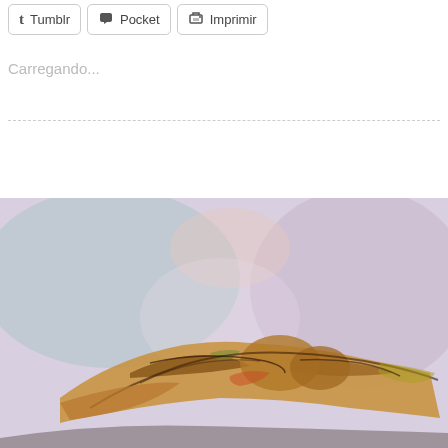[Figure (screenshot): Row of social sharing buttons: Tumblr (t icon), Pocket (pocket icon), Imprimir/Print (printer icon), all with border outlines]
Carregando...
[Figure (illustration): Watercolor-style painting of reclining nude figure(s) with warm ochre/brown tones against a lavender-grey background, painted in an expressive loose style]